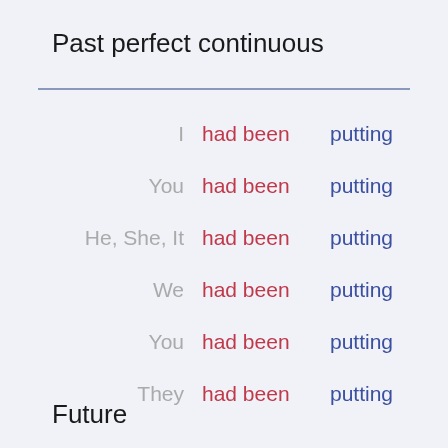Past perfect continuous
| Pronoun | Auxiliary | Verb |
| --- | --- | --- |
| I | had been | putting |
| You | had been | putting |
| He, She, It | had been | putting |
| We | had been | putting |
| You | had been | putting |
| They | had been | putting |
Future